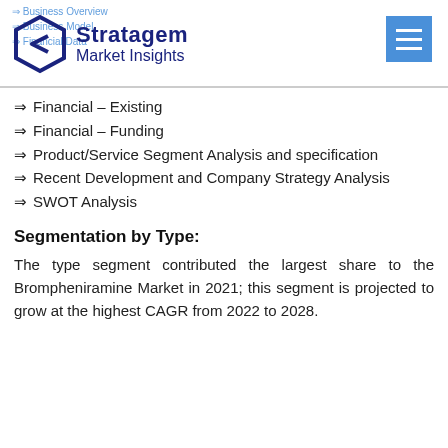Stratagem Market Insights
⇒ Financial – Existing
⇒ Financial – Funding
⇒ Product/Service Segment Analysis and specification
⇒ Recent Development and Company Strategy Analysis
⇒ SWOT Analysis
Segmentation by Type:
The type segment contributed the largest share to the Brompheniramine Market in 2021; this segment is projected to grow at the highest CAGR from 2022 to 2028.